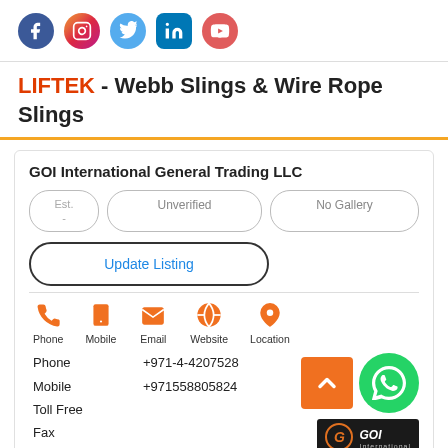[Figure (other): Social media icons: Facebook, Instagram, Twitter, LinkedIn, YouTube]
LIFTEK - Webb Slings & Wire Rope Slings
GOI International General Trading LLC
Est. -  |  Unverified  |  No Gallery
Update Listing
[Figure (infographic): Contact icons: Phone, Mobile, Email, Website, Location]
Phone +971-4-4207528
Mobile +971558805824
Toll Free
Fax
[Figure (logo): Orange arrow up button and WhatsApp green button]
[Figure (logo): GOI International logo - dark background with orange G and white GOI International text]